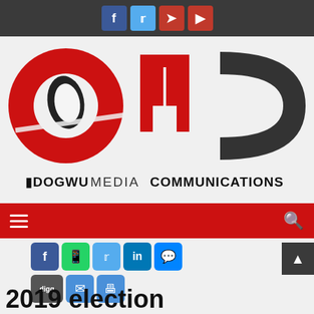Social media icons: Facebook, Twitter, Telegram, YouTube
[Figure (logo): OMC Odogwu Media Communications logo — large red and dark grey lettering with a quill feather in the O, and the tagline ODOGWU MEDIA COMMUNICATIONS below]
Navigation bar with hamburger menu and search icon
[Figure (infographic): Social share buttons: Facebook, WhatsApp, Twitter, LinkedIn, Messenger, Digg, Email, Print]
2019 election